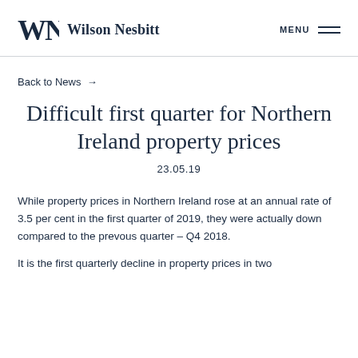Wilson Nesbitt | MENU
Back to News →
Difficult first quarter for Northern Ireland property prices
23.05.19
While property prices in Northern Ireland rose at an annual rate of 3.5 per cent in the first quarter of 2019, they were actually down compared to the prevous quarter – Q4 2018.
It is the first quarterly decline in property prices in two